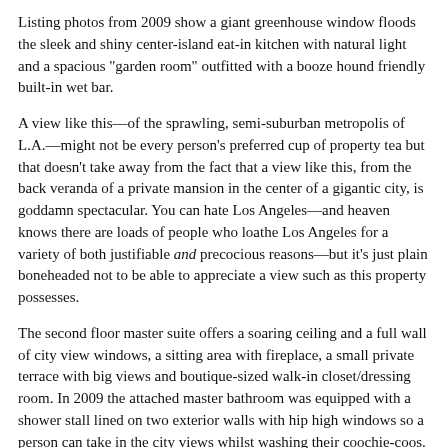Listing photos from 2009 show a giant greenhouse window floods the sleek and shiny center-island eat-in kitchen with natural light and a spacious "garden room" outfitted with a booze hound friendly built-in wet bar.
A view like this—of the sprawling, semi-suburban metropolis of L.A.—might not be every person's preferred cup of property tea but that doesn't take away from the fact that a view like this, from the back veranda of a private mansion in the center of a gigantic city, is goddamn spectacular. You can hate Los Angeles—and heaven knows there are loads of people who loathe Los Angeles for a variety of both justifiable and precocious reasons—but it's just plain boneheaded not to be able to appreciate a view such as this property possesses.
The second floor master suite offers a soaring ceiling and a full wall of city view windows, a sitting area with fireplace, a small private terrace with big views and boutique-sized walk-in closet/dressing room. In 2009 the attached master bathroom was equipped with a shower stall lined on two exterior walls with hip high windows so a person can take in the city views whilst washing their coochie-coos.
Wide stone terraces and a deep covered veranda extend the living areas